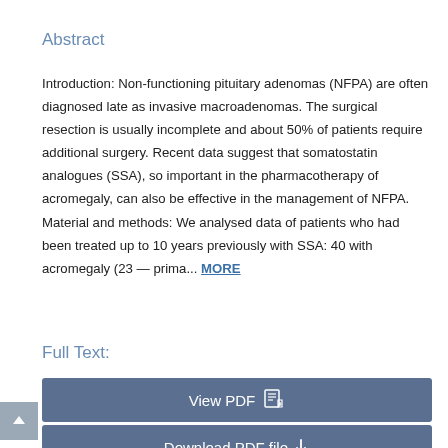Abstract
Introduction: Non-functioning pituitary adenomas (NFPA) are often diagnosed late as invasive macroadenomas. The surgical resection is usually incomplete and about 50% of patients require additional surgery. Recent data suggest that somatostatin analogues (SSA), so important in the pharmacotherapy of acromegaly, can also be effective in the management of NFPA. Material and methods: We analysed data of patients who had been treated up to 10 years previously with SSA: 40 with acromegaly (23 — prima... MORE
Full Text:
View PDF
Download PDF file